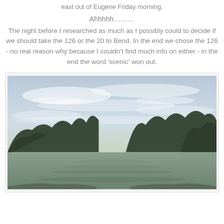east out of Eugene Friday morning.
Ahhhhh………
The night before I researched as much as I possibly could to decide if we should take the 126 or the 20 to Bend. In the end we chose the 126 - no real reason why because I couldn't find much info on either - in the end the word 'scenic' won out.
[Figure (photo): A scenic photograph of a calm river with dense evergreen forest on both banks and a partly cloudy sky with wispy clouds above.]